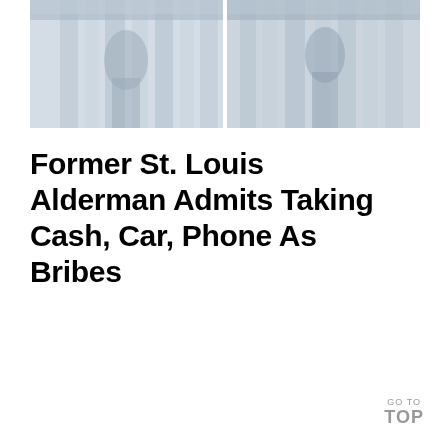[Figure (photo): Two-panel photograph showing architectural columns or pillars of a government/civic building, appearing in muted blue-gray tones, with silhouettes of figures visible]
Former St. Louis Alderman Admits Taking Cash, Car, Phone As Bribes
GO TO TOP